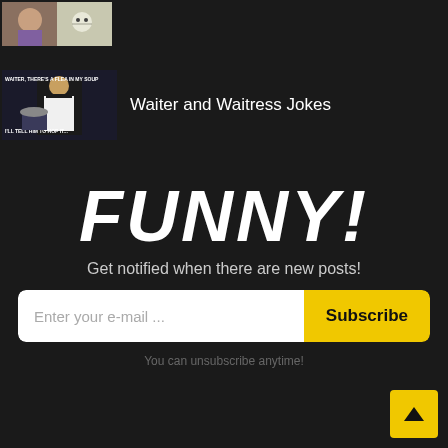[Figure (photo): Two women yelling at cat meme thumbnail at top left]
[Figure (photo): Waiter meme with text 'WAITER, THERE'S A FLEA IN MY SOUP' and 'I'LL TELL HIM TO HOP IT']
Waiter and Waitress Jokes
FUNNY!
Get notified when there are new posts!
Enter your e-mail ...
Subscribe
You can unsubscribe anytime!